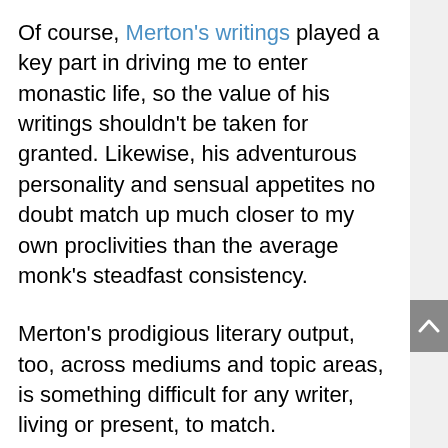Of course, Merton's writings played a key part in driving me to enter monastic life, so the value of his writings shouldn't be taken for granted. Likewise, his adventurous personality and sensual appetites no doubt match up much closer to my own proclivities than the average monk's steadfast consistency.
Merton's prodigious literary output, too, across mediums and topic areas, is something difficult for any writer, living or present, to match.
However, let's not forget to give thanks for all of the silent monks across the globe, who have developed a depth of experience no less valuable than the one Merton shares in his contemplative writings, yet have disappeared into the holy history…